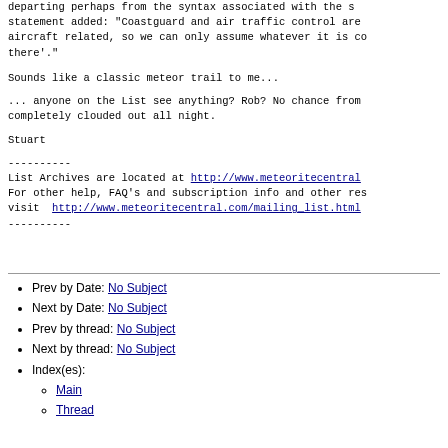departing perhaps from the syntax associated with the statement added: "Coastguard and air traffic control are aircraft related, so we can only assume whatever it is co there'."
Sounds like a classic meteor trail to me...
... anyone on the List see anything? Rob? No chance from completely clouded out all night.
Stuart
----------
List Archives are located at http://www.meteoritecentral
For other help, FAQ's and subscription info and other res visit  http://www.meteoritecentral.com/mailing_list.html
----------
Prev by Date: No Subject
Next by Date: No Subject
Prev by thread: No Subject
Next by thread: No Subject
Index(es): Main, Thread